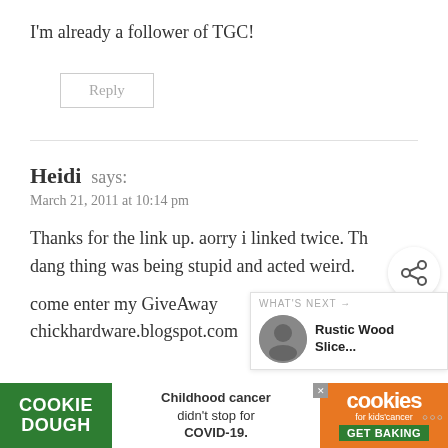I'm already a follower of TGC!
Reply
Heidi says:
March 21, 2011 at 10:14 pm
Thanks for the link up. aorry i linked twice. The dang thing was being stupid and acted weird.
come enter my GiveAway
chickhardware.blogspot.com
[Figure (other): Share icon (social sharing button, circular with share/network symbol)]
[Figure (other): What's Next panel with thumbnail image and text 'Rustic Wood Slice...']
[Figure (other): Cookie Dough advertisement banner: 'Childhood cancer didn't stop for COVID-19. GET BAKING']